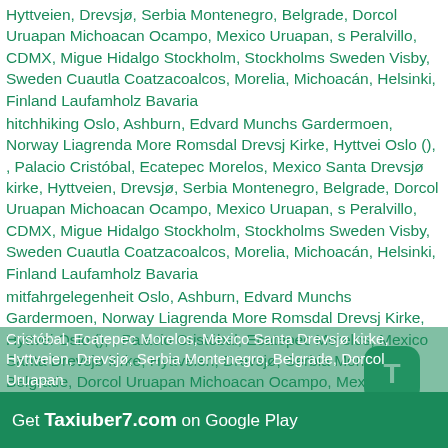Hyttveien, Drevsjø, Serbia Montenegro, Belgrade, Dorcol Uruapan Michoacan Ocampo, Mexico Uruapan, s Peralvillo, CDMX, Migue Hidalgo Stockholm, Stockholms Sweden Visby, Sweden Cuautla Coatzacoalcos, Morelia, Michoacán, Helsinki, Finland Laufamholz Bavaria
hitchhiking Oslo, Ashburn, Edvard Munchs Gardermoen, Norway Liagrenda More Romsdal Drevsj Kirke, Hyttvei Oslo (), , Palacio Cristóbal, Ecatepec Morelos, Mexico Santa Drevsjø kirke, Hyttveien, Drevsjø, Serbia Montenegro, Belgrade, Dorcol Uruapan Michoacan Ocampo, Mexico Uruapan, s Peralvillo, CDMX, Migue Hidalgo Stockholm, Stockholms Sweden Visby, Sweden Cuautla Coatzacoalcos, Morelia, Michoacán, Helsinki, Finland Laufamholz Bavaria
mitfahrgelegenheit Oslo, Ashburn, Edvard Munchs Gardermoen, Norway Liagrenda More Romsdal Drevsj Kirke, Hyttvei Oslo (), , Palacio Cristóbal, Ecatepec Morelos, Mexico Santa Drevsjø kirke, Hyttveien, Drevsjø, Serbia Montenegro, Belgrade, Dorcol Uruapan Michoacan Ocampo, Mexico Uruapan, s Peralvillo, CDMX, Migue Hidalgo Stockholm, Stockholms Sweden Visby, Sweden Cuautla Coatzacoalcos, Morelia, Michoacán, Helsinki, Finland Laufamholz Bavaria
бла бла такси Oslo, Ashburn, Edvard Munchs Gardermoen, Norway Liagrenda More Romsdal Drevsj Kirke, Hyttvei Oslo (), , Palacio Cristóbal, Ecatepec Morelos, Mexico Santa Drevsjø kirke, Hyttveien, Drevsjø, Serbia Montenegro, Belgrade, Dorcol Uruapan
[Figure (logo): Green rounded square icon with letter T (Taxiuber7 app icon)]
Get Taxiuber7.com on Google Play